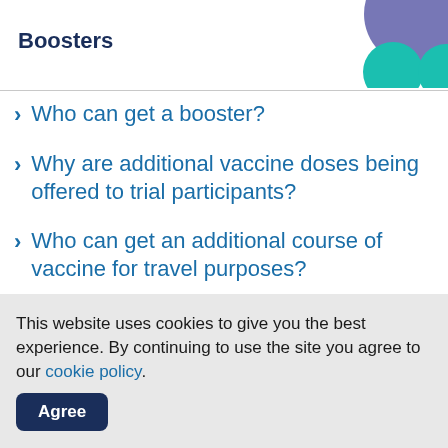Boosters
[Figure (illustration): Decorative circles in purple and teal in the top-right corner of the page header]
Who can get a booster?
Why are additional vaccine doses being offered to trial participants?
Who can get an additional course of vaccine for travel purposes?
This website uses cookies to give you the best experience. By continuing to use the site you agree to our cookie policy. Agree